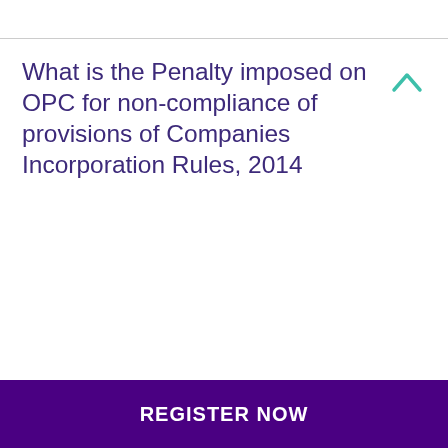What is the Penalty imposed on OPC for non-compliance of provisions of Companies Incorporation Rules, 2014
What are the Exemptions Available to OPCs under the Act?
What are legal provisions for the conversion of entities to OPC?
REGISTER NOW